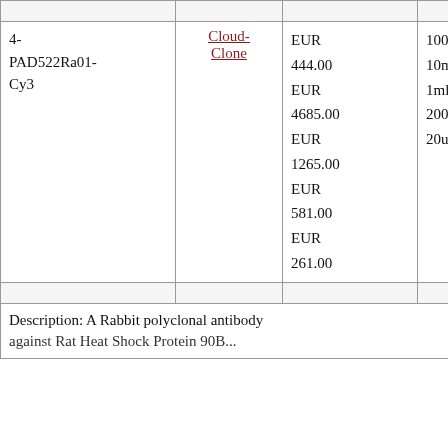| Catalog No. | Vendor | Price | Size |
| --- | --- | --- | --- |
| 4-PAD522Ra01-Cy3 | Cloud-Clone | EUR 444.00
EUR 4685.00
EUR 1265.00
EUR 581.00
EUR 261.00 | 100u
10m
1ml
200
20u |
Description: A Rabbit polyclonal antibody against Rat Heat Shock Protein 90B...